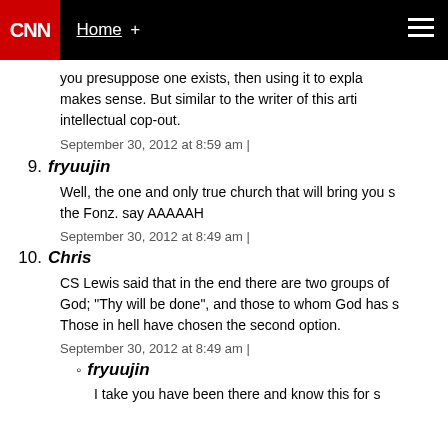CNN Home +
you presuppose one exists, then using it to expla makes sense. But similar to the writer of this arti intellectual cop-out.
September 30, 2012 at 8:59 am |
9. fryuujin
Well, the one and only true church that will bring you s the Fonz. say AAAAAH
September 30, 2012 at 8:49 am |
10. Chris
CS Lewis said that in the end there are two groups of God; "Thy will be done", and those to whom God has s Those in hell have chosen the second option.
September 30, 2012 at 8:49 am |
fryuujin
I take you have been there and know this for s